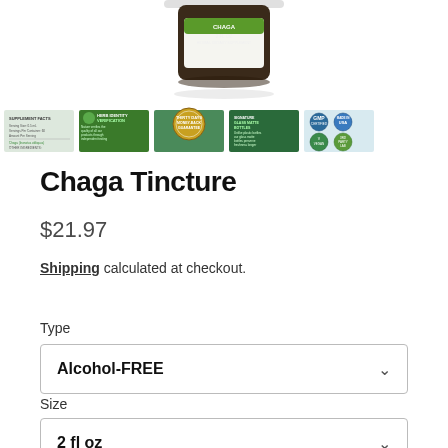[Figure (photo): Product photo of Chaga Tincture supplement bottle (2 FL OZ, Herbal Dietary Supplement) shown from above, partially cropped, with a row of thumbnail images below showing: supplement facts label, herb identity verification badge, thirty days money-back guarantee badge, signature glass matte bottles image, GMP/Made in USA/vegan badges]
Chaga Tincture
$21.97
Shipping calculated at checkout.
Type
Alcohol-FREE
Size
2 fl oz